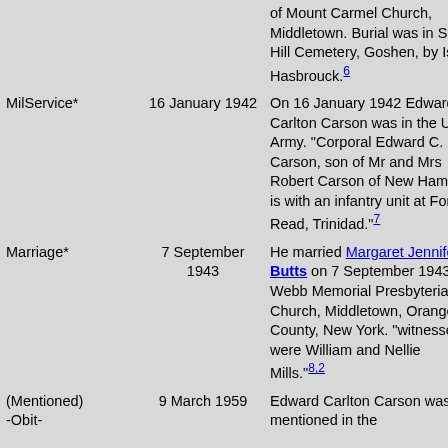| Event | Date | Description |
| --- | --- | --- |
|  |  | of Mount Carmel Church, Middletown. Burial was in Slate Hill Cemetery, Goshen, by Isaac Hasbrouck.6 |
| MilService* | 16 January 1942 | On 16 January 1942 Edward Carlton Carson was in the US Army. "Corporal Edward C. Carson, son of Mr and Mrs Robert Carson of New Hampton is with an infantry unit at Fort Read, Trinidad."7 |
| Marriage* | 7 September 1943 | He married Margaret Jennifer Butts on 7 September 1943 at Webb Memorial Presbyterian Church, Middletown, Orange County, New York. "witnesses were William and Nellie Mills."8,2 |
| (Mentioned) -Obit- | 9 March 1959 | Edward Carlton Carson was mentioned in the |